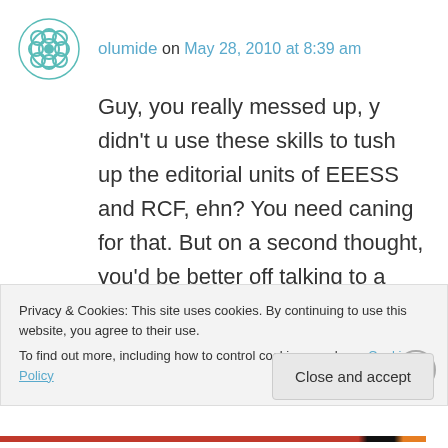olumide on May 28, 2010 at 8:39 am
Guy, you really messed up, y didn't u use these skills to tush up the editorial units of EEESS and RCF, ehn? You need caning for that. But on a second thought, you'd be better off talking to a journalist or starting with church bulletins to market this gift of yours and spread the scope of this inspirational stuff with modern-style presentation. Check out my papa's blog
Privacy & Cookies: This site uses cookies. By continuing to use this website, you agree to their use. To find out more, including how to control cookies, see here: Cookie Policy
Close and accept